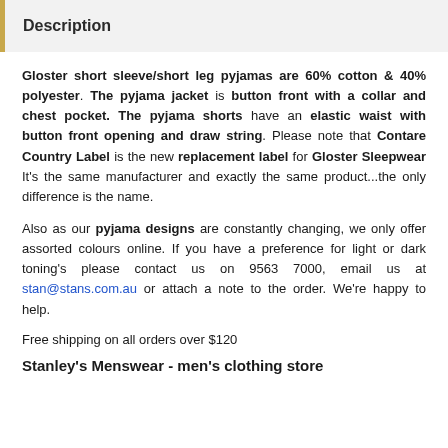Description
Gloster short sleeve/short leg pyjamas are 60% cotton & 40% polyester. The pyjama jacket is button front with a collar and chest pocket. The pyjama shorts have an elastic waist with button front opening and draw string. Please note that Contare Country Label is the new replacement label for Gloster Sleepwear It's the same manufacturer and exactly the same product...the only difference is the name.
Also as our pyjama designs are constantly changing, we only offer assorted colours online. If you have a preference for light or dark toning's please contact us on 9563 7000, email us at stan@stans.com.au or attach a note to the order. We're happy to help.
Free shipping on all orders over $120
Stanley's Menswear - men's clothing store